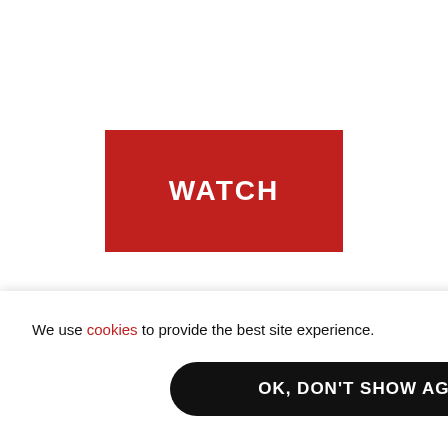[Figure (other): Red rectangular button with white bold text 'WATCH' centered on it]
Speakers
We use cookies to provide the best site experience.
OK, DON'T SHOW AGAIN